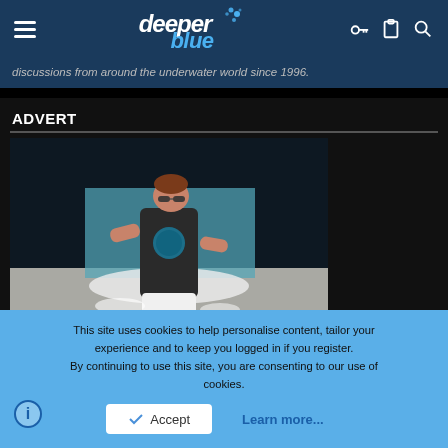deeper blue (logo) — navigation header
discussions from around the underwater world since 1996.
ADVERT
[Figure (photo): Advertisement image showing a woman in a dark t-shirt with ocean graphic print and white shorts, standing near ocean water on a beach]
This site uses cookies to help personalise content, tailor your experience and to keep you logged in if you register.
By continuing to use this site, you are consenting to our use of cookies.